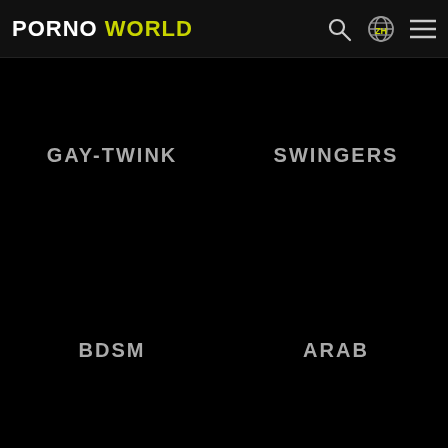PORNO WORLD
GAY-TWINK
SWINGERS
BDSM
ARAB